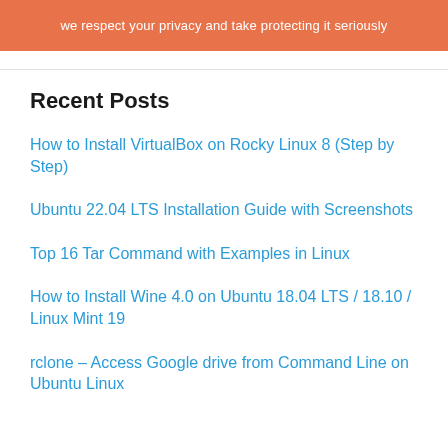we respect your privacy and take protecting it seriously
Recent Posts
How to Install VirtualBox on Rocky Linux 8 (Step by Step)
Ubuntu 22.04 LTS Installation Guide with Screenshots
Top 16 Tar Command with Examples in Linux
How to Install Wine 4.0 on Ubuntu 18.04 LTS / 18.10 / Linux Mint 19
rclone – Access Google drive from Command Line on Ubuntu Linux